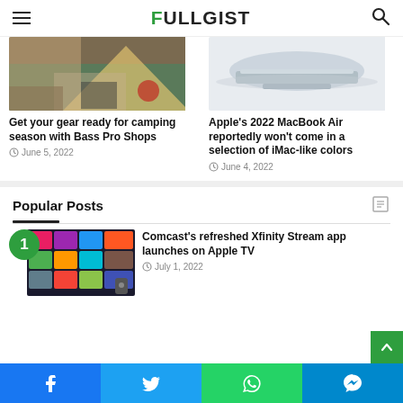FULLGIST
[Figure (photo): Person sitting in tent with red mug, camping scene]
Get your gear ready for camping season with Bass Pro Shops
June 5, 2022
[Figure (photo): Apple MacBook Air laptop on white background]
Apple's 2022 MacBook Air reportedly won't come in a selection of iMac-like colors
June 4, 2022
Popular Posts
[Figure (screenshot): Comcast Xfinity Stream app interface on Apple TV showing colorful app grid]
Comcast's refreshed Xfinity Stream app launches on Apple TV
July 1, 2022